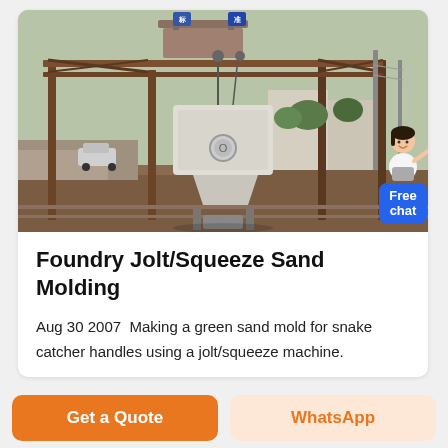[Figure (photo): Outdoor industrial foundry equipment — a large jolt/squeeze sand molding machine and overhead crane structure at a foundry facility, with utility poles and buildings in background.]
Foundry Jolt/Squeeze Sand Molding
Aug 30 2007  Making a green sand mold for snake catcher handles using a jolt/squeeze machine.